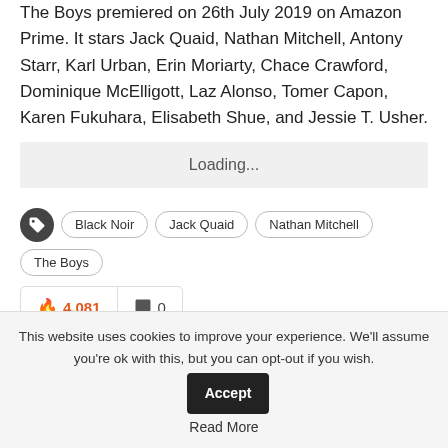The Boys premiered on 26th July 2019 on Amazon Prime. It stars Jack Quaid, Nathan Mitchell, Antony Starr, Karl Urban, Erin Moriarty, Chace Crawford, Dominique McElligott, Laz Alonso, Tomer Capon, Karen Fukuhara, Elisabeth Shue, and Jessie T. Usher.
Loading...
Black Noir | Jack Quaid | Nathan Mitchell | The Boys
4,081  0
Share
This website uses cookies to improve your experience. We'll assume you're ok with this, but you can opt-out if you wish.  Accept  Read More